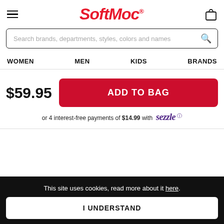SoftMoc
Search brands, departments, styles, colors and names
WOMEN   MEN   KIDS   BRANDS
$59.95
ADD TO BAG
or 4 interest-free payments of $14.99 with sezzle
This site uses cookies, read more about it here.
I UNDERSTAND